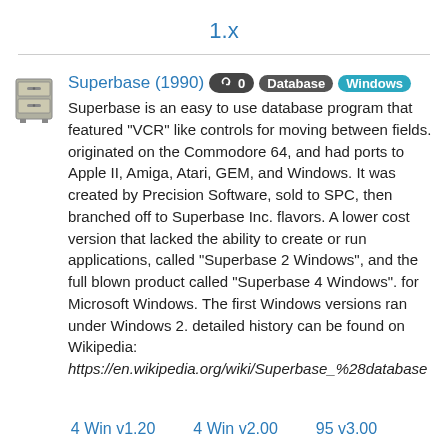1.x
Superbase (1990) [0] [Database] [Windows]
Superbase is an easy to use database program that featured "VCR" like controls for moving between fields. originated on the Commodore 64, and had ports to Apple II, Amiga, Atari, GEM, and Windows. It was created by Precision Software, sold to SPC, then branched off to Superbase Inc. flavors. A lower cost version that lacked the ability to create or run applications, called "Superbase 2 Windows", and the full blown product called "Superbase 4 Windows". for Microsoft Windows. The first Windows versions ran under Windows 2. detailed history can be found on Wikipedia: https://en.wikipedia.org/wiki/Superbase_%28database
4 Win v1.20    4 Win v2.00    95 v3.00